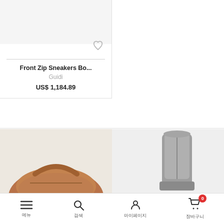[Figure (photo): Product image placeholder for Front Zip Sneakers Bo...]
[Figure (photo): Product image placeholder for Soft Horse Full Grain...]
Front Zip Sneakers Bo...
Guidi
US$ 1,184.89
Soft Horse Full Grain...
Guidi
US$ 1,286.66
[Figure (photo): Partial product image of brown leather bag]
[Figure (photo): Partial product image of gray leather boots/bag]
메뉴  검색  마이페이지  장바구니